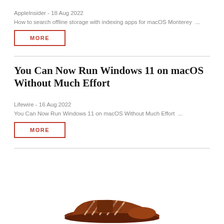AppleInsider - 18 Aug 2022
How to search offline storage with indexing apps for macOS Monterey ...
MORE
You Can Now Run Windows 11 on macOS Without Much Effort
Lifewire - 16 Aug 2022
You Can Now Run Windows 11 on macOS Without Much Effort ...
MORE
[Figure (illustration): Partial image of a brown sneaker/shoe at the bottom of the page]